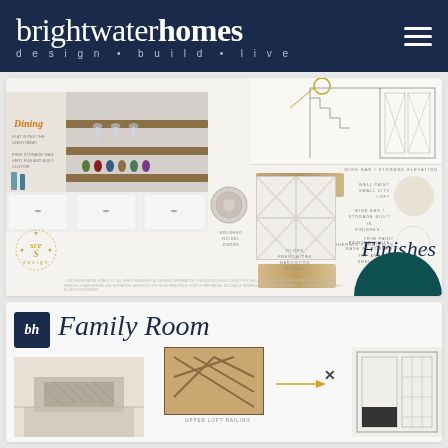brightwaterhomes design • build • live
[Figure (infographic): Design mood board for Dining / Wine Bar area showing photo collage of wine storage built-in with white cabinets, material swatches (wood, cream, white), wine rack SVG, brushed nickel knob, floor sample, wall paint swatch labeled 'Small City Loft', trim paint labeled 'Sherwin Pure White', elevation drawing, Finishes script text, teal semicircle accent, and Brightwater Homes logo badge]
[Figure (infographic): Design mood board for Family Room showing 'bh' logo box, 'Family Room' script title, fireplace photo, upper loft railing photo with arrow detail, and architectural elevation drawing on right]